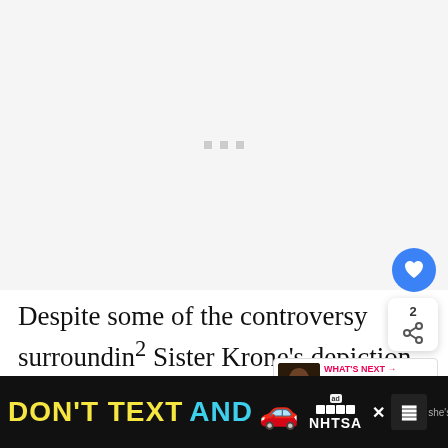[Figure (other): Loading placeholder area with three small gray squares indicating content loading]
Despite some of the controversy surroundin Sister Krone's depiction in The Promised Neverland, it's hard to deny her effe and presence as both ally and foe. She's cunning, agile, and stealthy, and has a ho she's
[Figure (other): Blue circular heart/like button with white heart icon]
[Figure (other): Share panel showing count 2 and share icon]
[Figure (other): What's Next panel with thumbnail and text: WHAT'S NEXT → Top 26 Best Fantasy Ani...]
[Figure (other): Ad banner: DON'T TEXT AND [car emoji] ad NHTSA - distracted driving public service advertisement]